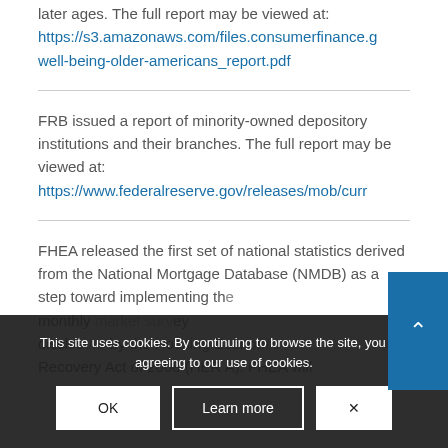later ages. The full report may be viewed at: https://s3.amazonaws.com/files.consumerfinance.gwell-being-older-americans_report.pdf
FRB issued a report of minority-owned depository institutions and their branches. The full report may be viewed at: https://www.federalreserve.gov/releases/mob/curr
FHEA released the first set of national statistics derived from the National Mortgage Database (NMDB) as a step toward implementing the monthly market survey disclosure by the Housing Economic Recovery Act of 2008 (HER A). FHEA will